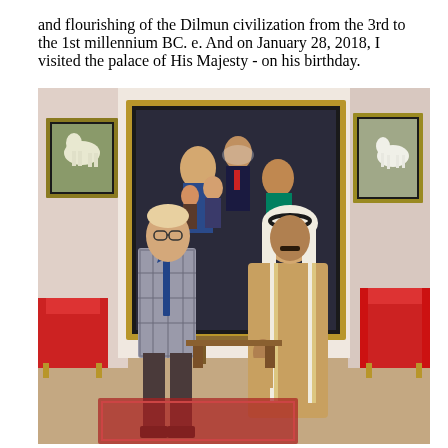and flourishing of the Dilmun civilization from the 3rd to the 1st millennium BC. e. And on January 28, 2018, I visited the palace of His Majesty - on his birthday.
[Figure (photo): Two men standing in front of a large framed portrait painting showing a family. On the left is a man in a plaid suit with a blue tie and glasses. On the right is a man in traditional Arab attire (thobe and keffiyeh). The room has red furniture and paintings on the walls.]